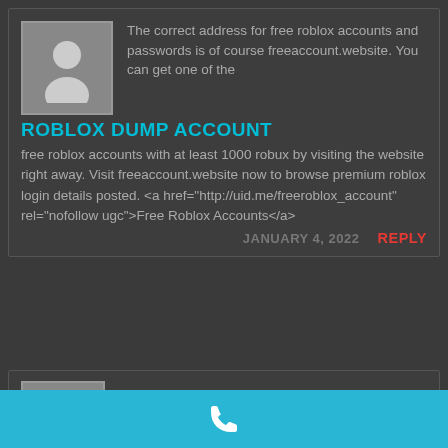[Figure (screenshot): Comment card with avatar placeholder and text content about Roblox dump account]
The correct address for free roblox accounts and passwords is of course freeaccount.website. You can get one of the free roblox accounts with at least 1000 robux by visiting the website right away. Visit freeaccount.website now to browse premium roblox login details posted. <a href="http://uid.me/freeroblox_account" rel="nofollow ugc">Free Roblox Accounts</a>
ROBLOX DUMP ACCOUNT
JANUARY 4, 2022
REPLY
[Figure (screenshot): Second comment card partially visible with avatar placeholder]
[Figure (other): Bottom bar with phone/call icon in cyan color]